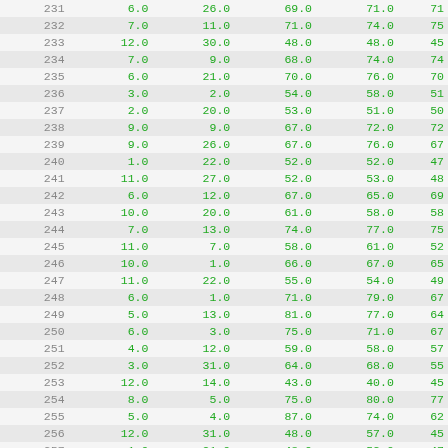| # | col1 | col2 | col3 | col4 | col5 |
| --- | --- | --- | --- | --- | --- |
| 231 | 6.0 | 26.0 | 69.0 | 71.0 | 71 |
| 232 | 7.0 | 11.0 | 71.0 | 74.0 | 75 |
| 233 | 12.0 | 30.0 | 48.0 | 48.0 | 45 |
| 234 | 7.0 | 9.0 | 68.0 | 74.0 | 74 |
| 235 | 6.0 | 21.0 | 70.0 | 76.0 | 70 |
| 236 | 3.0 | 2.0 | 54.0 | 58.0 | 51 |
| 237 | 2.0 | 20.0 | 53.0 | 51.0 | 50 |
| 238 | 9.0 | 9.0 | 67.0 | 72.0 | 72 |
| 239 | 9.0 | 26.0 | 67.0 | 76.0 | 67 |
| 240 | 1.0 | 22.0 | 52.0 | 52.0 | 47 |
| 241 | 11.0 | 27.0 | 52.0 | 53.0 | 48 |
| 242 | 6.0 | 12.0 | 67.0 | 65.0 | 69 |
| 243 | 10.0 | 20.0 | 61.0 | 58.0 | 58 |
| 244 | 7.0 | 13.0 | 74.0 | 77.0 | 75 |
| 245 | 11.0 | 7.0 | 58.0 | 61.0 | 52 |
| 246 | 10.0 | 1.0 | 66.0 | 67.0 | 65 |
| 247 | 11.0 | 22.0 | 55.0 | 54.0 | 49 |
| 248 | 6.0 | 1.0 | 71.0 | 79.0 | 67 |
| 249 | 5.0 | 13.0 | 81.0 | 77.0 | 64 |
| 250 | 6.0 | 3.0 | 75.0 | 71.0 | 67 |
| 251 | 4.0 | 12.0 | 59.0 | 58.0 | 57 |
| 252 | 3.0 | 31.0 | 64.0 | 68.0 | 55 |
| 253 | 12.0 | 14.0 | 43.0 | 40.0 | 45 |
| 254 | 8.0 | 5.0 | 75.0 | 80.0 | 77 |
| 255 | 5.0 | 4.0 | 87.0 | 74.0 | 62 |
| 256 | 12.0 | 31.0 | 48.0 | 57.0 | 45 |
| 257 | 1.0 | 21.0 | 48.0 | 52.0 | 47 |
| 258 | 7.0 | 10.0 | 74.0 | 71.0 | 75 |
| 259 | 3.0 | 15.0 | 54.0 | 49.0 | 53 |
| 260 | 4.0 | 19.0 | 77.0 | 89.0 | 59 |
| 261 | 10.0 | 14.0 | 66.0 | 60.0 | 60 |
| 262 | 4.0 | 15.0 | 59.0 | 59.0 | 58 |